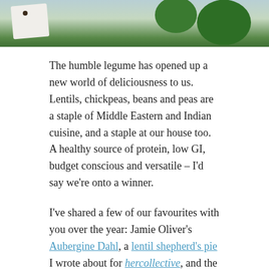[Figure (photo): Top of a food/cooking photo showing green leafy vegetables (spinach or similar) and what appears to be a white plate or surface, cropped at the top of the page.]
The humble legume has opened up a new world of deliciousness to us. Lentils, chickpeas, beans and peas are a staple of Middle Eastern and Indian cuisine, and a staple at our house too. A healthy source of protein, low GI, budget conscious and versatile – I'd say we're onto a winner.
I've shared a few of our favourites with you over the year: Jamie Oliver's Aubergine Dahl, a lentil shepherd's pie I wrote about for hercollective, and the trusty, comforting Lentil Soup.
Here's a brilliantly easy and tasty recipe using red lentils from Anna Jones' A Modern Way to Eat. We love this dish, and it's making my mouth water just